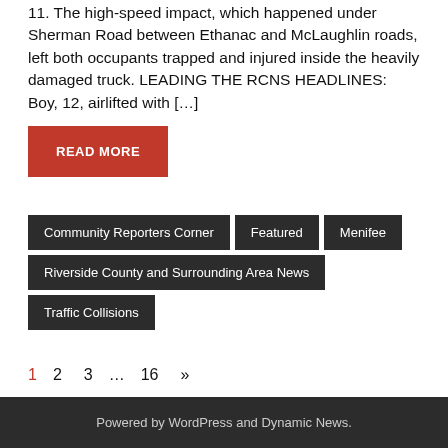11. The high-speed impact, which happened under Sherman Road between Ethanac and McLaughlin roads, left both occupants trapped and injured inside the heavily damaged truck. LEADING THE RCNS HEADLINES: Boy, 12, airlifted with […]
READ MORE
Community Reporters Corner
Featured
Menifee
Riverside County and Surrounding Area News
Traffic Collisions
1  2  3  …  16  »
Powered by WordPress and Dynamic News.